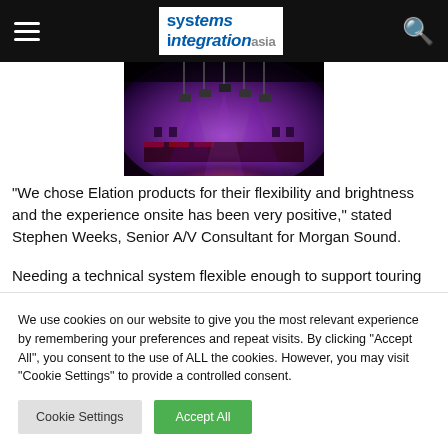Systems Integration Asia
[Figure (photo): Interior of a performance venue with purple stage lighting and equipment rigging visible overhead]
“We chose Elation products for their flexibility and brightness and the experience onsite has been very positive,” stated Stephen Weeks, Senior A/V Consultant for Morgan Sound.
Needing a technical system flexible enough to support touring
We use cookies on our website to give you the most relevant experience by remembering your preferences and repeat visits. By clicking “Accept All”, you consent to the use of ALL the cookies. However, you may visit “Cookie Settings” to provide a controlled consent.